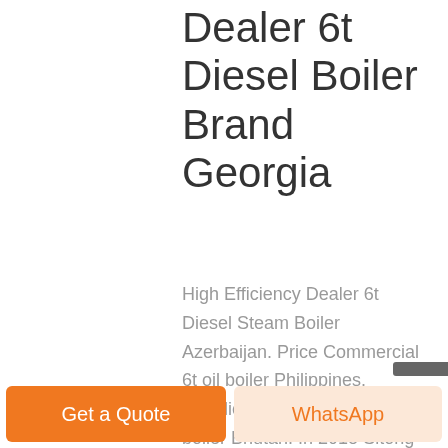Dealer 6t Diesel Boiler Brand Georgia
High Efficiency Dealer 6t Diesel Steam Boiler Azerbaijan. Price Commercial 6t oil boiler Philippines. Supplier Industrial 6t gas boiler Bhutan. In 2018 Sitong boiler company delivery 1.4MW oil gas fired hot water boiler to Philippines